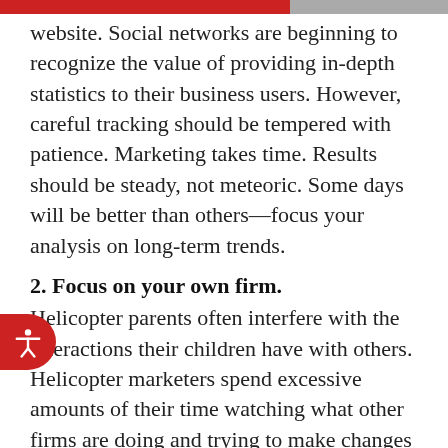website. Social networks are beginning to recognize the value of providing in-depth statistics to their business users. However, careful tracking should be tempered with patience. Marketing takes time. Results should be steady, not meteoric. Some days will be better than others—focus your analysis on long-term trends.
2. Focus on your own firm.
Helicopter parents often interfere with the interactions their children have with others. Helicopter marketers spend excessive amounts of their time watching what other firms are doing and trying to make changes in imitation of their competitors. Not only is close imitation unethical,